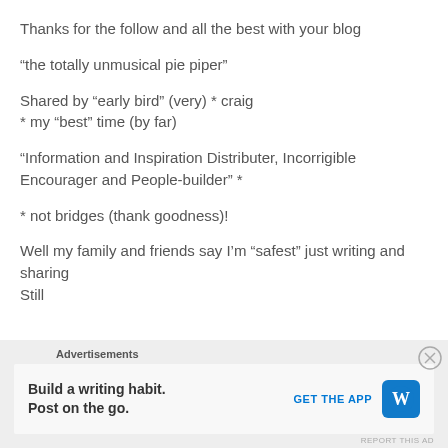Thanks for the follow and all the best with your blog
“the totally unmusical pie piper”
Shared by “early bird” (very) * craig
* my “best” time (by far)
“Information and Inspiration Distributer, Incorrigible Encourager and People-builder” *
* not bridges (thank goodness)!
Well my family and friends say I’m “safest” just writing and sharing
Still
Advertisements
Build a writing habit. Post on the go.
GET THE APP